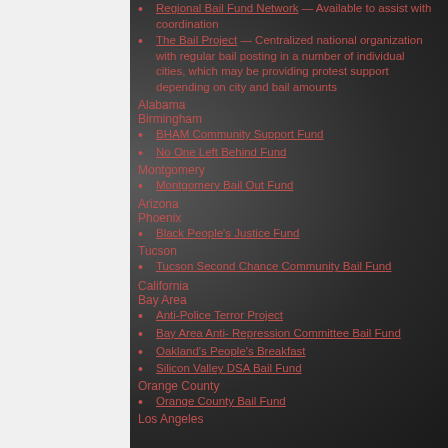Regional Bail Fund Network — Available to assist with coordination
The Bail Project — Centralized national organization with regular bail posting in a number of individual cities, which may be providing protest support depending on city and bail amounts
Alabama
Birmingham
BHAM Community Support Fund
No One Left Behind Fund
Montgomery
Montgomery Bail Out Fund
Arizona
Phoenix
Black People's Justice Fund
Tucson
Tucson Second Chance Community Bail Fund
California
Bay Area
Anti-Police Terror Project
Bay Area Anti- Repression Committee Bail Fund
Oakland's People's Breakfast
Silicon Valley DSA Bail Fund
Orange County
Orange County Bail Fund
Los Angeles